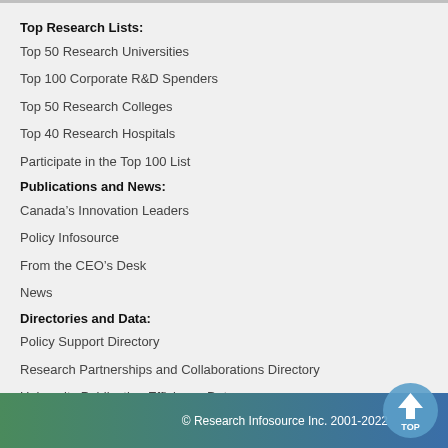Top Research Lists:
Top 50 Research Universities
Top 100 Corporate R&D Spenders
Top 50 Research Colleges
Top 40 Research Hospitals
Participate in the Top 100 List
Publications and News:
Canada's Innovation Leaders
Policy Infosource
From the CEO's Desk
News
Directories and Data:
Policy Support Directory
Research Partnerships and Collaborations Directory
University Publication Efficiency Data
Advertising:
Opportunities
CIL Media Kit
PI Media Kit
© Research Infosource Inc. 2001-2022